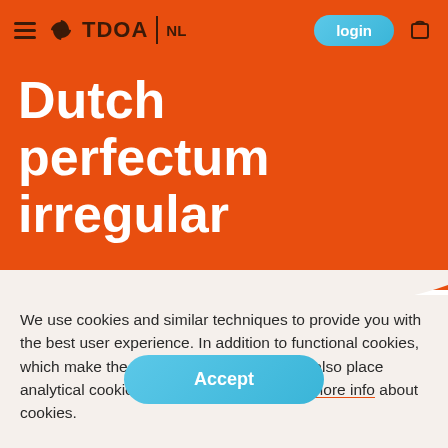TDOA | NL  login
Dutch perfectum irregular
We use cookies and similar techniques to provide you with the best user experience. In addition to functional cookies, which make the website work properly, we also place analytical cookies to improve our website. more info about cookies.